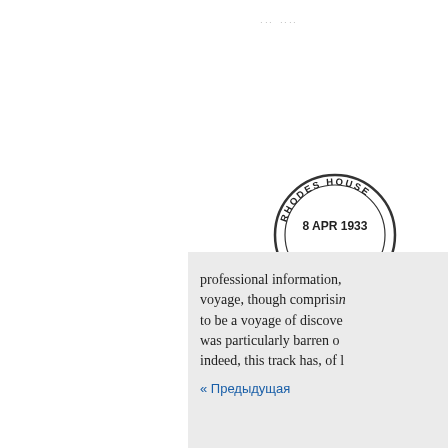... ...
[Figure (other): Circular library stamp reading 'RHODES HOUSE 8 APR 1933 LIBRARY']
professional information, voyage, though comprisin to be a voyage of discove was particularly barren o indeed, this track has, of l
« Предыдущая